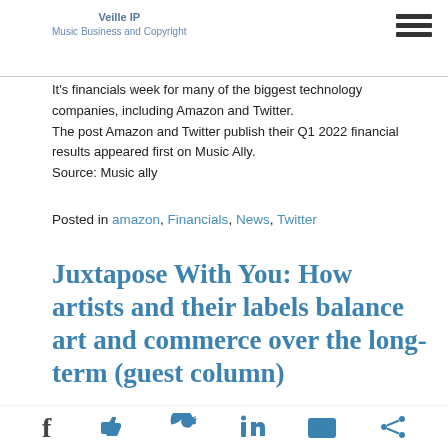Veille IP
Music Business and Copyright
It's financials week for many of the biggest technology companies, including Amazon and Twitter.
The post Amazon and Twitter publish their Q1 2022 financial results appeared first on Music Ally.
Source: Music ally
Posted in amazon, Financials, News, Twitter
Juxtapose With You: How artists and their labels balance art and commerce over the long-term (guest column)